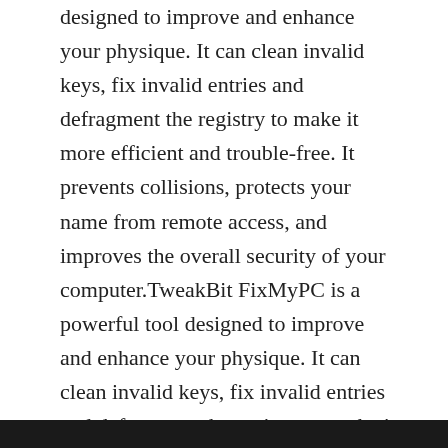designed to improve and enhance your physique. It can clean invalid keys, fix invalid entries and defragment the registry to make it more efficient and trouble-free. It prevents collisions, protects your name from remote access, and improves the overall security of your computer.TweakBit FixMyPC is a powerful tool designed to improve and enhance your physique. It can clean invalid keys, fix invalid entries and defragment the registry to make it more efficient and trouble-free. It prevents collisions, protects your name from remote access, and improves the overall security of your computer. prevent crashes, defragment the Windows registry, repair the system, improve your computer security safeguard and protect your body against future problems.